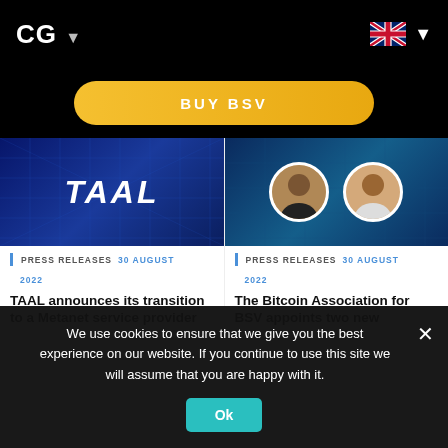CG ▾
BUY BSV
[Figure (photo): TAAL logo on blue network grid background]
PRESS RELEASES   30 AUGUST 2022
TAAL announces its transition to a Metanet service provider
[Figure (photo): Two circular portrait photos on blue network background - Bitcoin Association ambassadors]
PRESS RELEASES   30 AUGUST 2022
The Bitcoin Association for BSV appoints two new
We use cookies to ensure that we give you the best experience on our website. If you continue to use this site we will assume that you are happy with it.
Ok